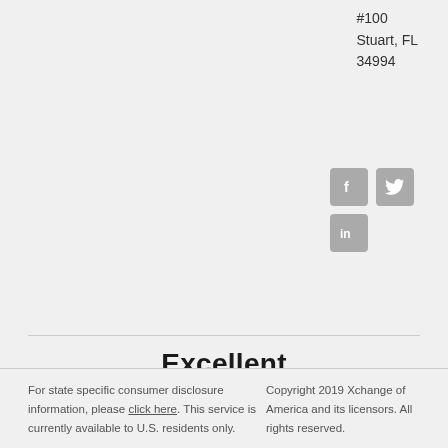#100
Stuart, FL
34994
[Figure (infographic): Social media icons: Facebook (f), Twitter (bird), LinkedIn (in) — grey rounded square buttons]
Excellent
[Figure (infographic): Five green Trustpilot star rating boxes with white stars]
Based on 2,205 reviews
[Figure (logo): Trustpilot logo: green star icon followed by the word Trustpilot]
For state specific consumer disclosure information, please click here. This service is currently available to U.S. residents only.
Copyright 2019 Xchange of America and its licensors. All rights reserved.